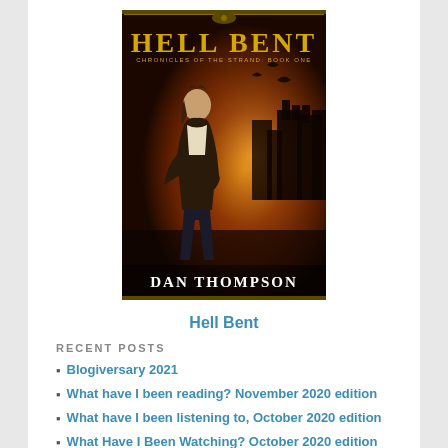[Figure (illustration): Book cover for 'Hell Bent: Chronicles of the Strand, Book One' by Dan Thompson. Dark fantasy cover showing a young woman in a leather jacket with a fiery castle and flying creatures in the background. Title 'HELL BENT' in gold letters at top, author name 'DAN THOMPSON' at bottom.]
Hell Bent
RECENT POSTS
Blogiversary 2021
What have I been reading? November 2020 edition
What have I been listening to, October 2020 edition
What Have I Been Watching? October 2020 edition
What have I been reading? (October 2020 edition)